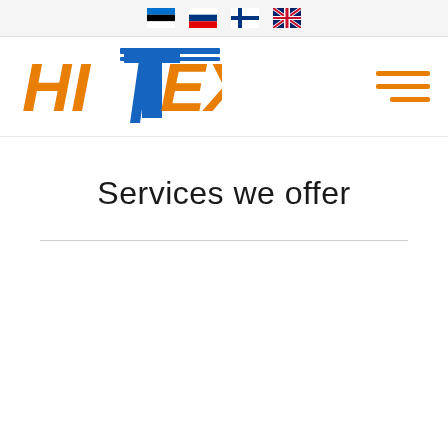[Figure (logo): Language selector bar with four country flags: Estonia, Russia, Finland, United Kingdom]
[Figure (logo): HITEH company logo in orange and blue colors, with hamburger menu icon in orange on the right]
Services we offer